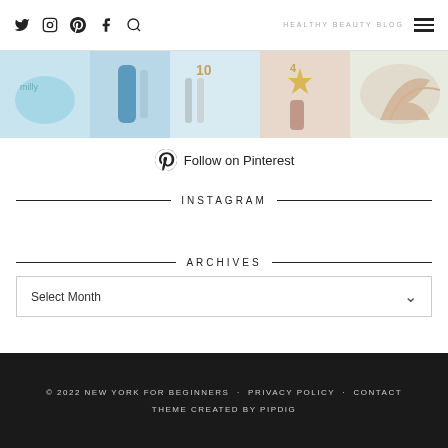Twitter Instagram Pinterest Facebook Search icons | HEALTHY BEAUTY BLOG | Hamburger menu
[Figure (photo): Pinterest image strip showing beauty/skincare products including Milly product, blue tube, clear serums, numbered items with stars, and floral/botanical imagery]
Follow on Pinterest
INSTAGRAM
ARCHIVES
Select Month
© 2022 NEW YORK FOR BEGINNERS · PRIVACY POLICY · CONTACT
THEME CREATED BY pipdig